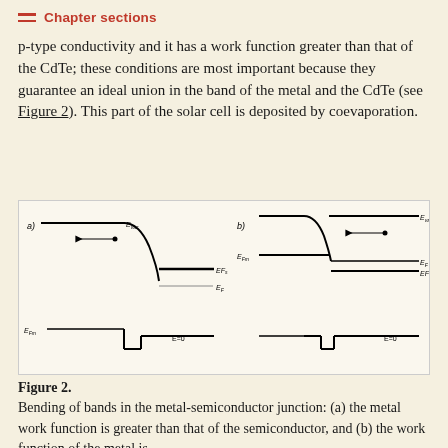Chapter sections
p-type conductivity and it has a work function greater than that of the CdTe; these conditions are most important because they guarantee an ideal union in the band of the metal and the CdTe (see Figure 2). This part of the solar cell is deposited by coevaporation.
[Figure (engineering-diagram): Band diagram showing bending of bands in metal-semiconductor junction. (a) Before contact: separate energy levels for metal and semiconductor showing Evac, EFr, Ef, EFm, E=0 levels with an arrow indicating electron movement. (b) After contact: band bending shown with EFm, Evac, EF, EFs, E=0 levels aligned, with arrow showing electron transfer.]
Figure 2. Bending of bands in the metal-semiconductor junction: (a) the metal work function is greater than that of the semiconductor, and (b) the work function of the metal is